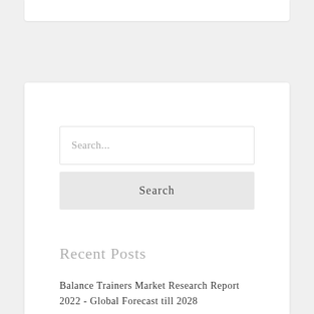[Figure (screenshot): Search widget with text input field showing placeholder 'Search...' and a Search button below it, on a white card background]
Recent Posts
Balance Trainers Market Research Report 2022 - Global Forecast till 2028
Global Blepharospasm Therapeutic Market: Industry Development Segments and Forecast